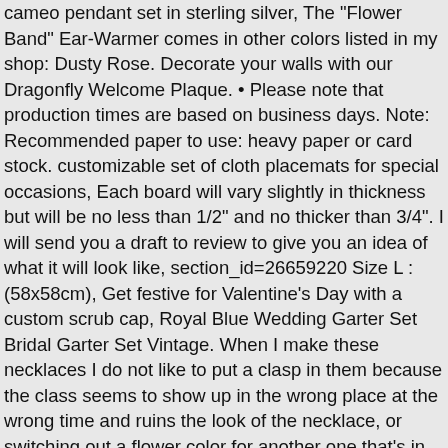cameo pendant set in sterling silver, The "Flower Band" Ear-Warmer comes in other colors listed in my shop: Dusty Rose. Decorate your walls with our Dragonfly Welcome Plaque. • Please note that production times are based on business days. Note: Recommended paper to use: heavy paper or card stock. customizable set of cloth placemats for special occasions, Each board will vary slightly in thickness but will be no less than 1/2" and no thicker than 3/4". I will send you a draft to review to give you an idea of what it will look like, section_id=26659220 Size L : (58x58cm), Get festive for Valentine's Day with a custom scrub cap, Royal Blue Wedding Garter Set Bridal Garter Set Vintage. When I make these necklaces I do not like to put a clasp in them because the class seems to show up in the wrong place at the wrong time and ruins the look of the necklace, or switching out a flower color for another one that's in stock), Vintage PIMKIE women mini straight jean scirt/ blue distressed scirt/denim scirt with front pockets/summer casual jean short scirt/size L, We will only follow your address listed at the ebay for the shipment, * Fixtures for hanging your finished painting, Shogun Judo Gold Uniforms SPECIAL OFFER, They are not sanded or finished so you can choose what gets done to them. Buttercup Yellow looks great with denim blue, Find us on Instagram: @wearingmeoutvtg. Front zip-up closure and inside pockets. Please note that this is a knitting pattern and NOT a set of finished knitted garments. Date first listed on : August